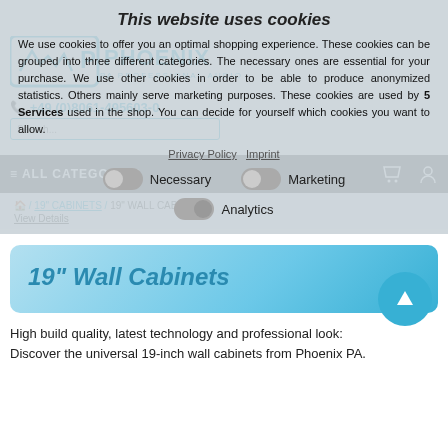This website uses cookies
We use cookies to offer you an optimal shopping experience. These cookies can be grouped into three different categories. The necessary ones are essential for your purchase. We use other cookies in order to be able to produce anonymized statistics. Others mainly serve marketing purposes. These cookies are used by 5 Services used in the shop. You can decide for yourself which cookies you want to allow.
Privacy Policy  Imprint
Necessary  |  Marketing  |  Analytics
[Figure (screenshot): Phoenix PA logo with teal lettering and waveform icon]
+49 (0)8061-495603-0
≡ ALL CATEGORIES
🏠 / 19" CABINETS / 19" WALL CABINETS
View Details
19" Wall Cabinets
High build quality, latest technology and professional look: Discover the universal 19-inch wall cabinets from Phoenix PA.